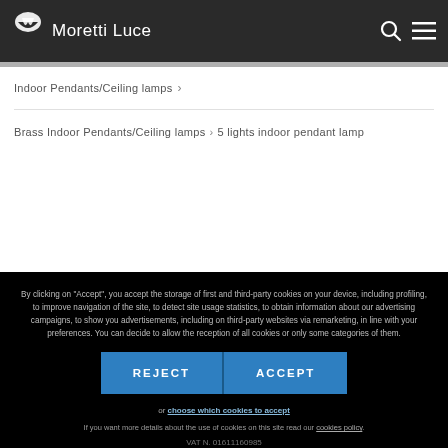Moretti Luce
Indoor Pendants/Ceiling lamps >
Brass Indoor Pendants/Ceiling lamps > 5 lights indoor pendant lamp
By clicking on "Accept", you accept the storage of first and third-party cookies on your device, including profiling, to improve navigation of the site, to detect site usage statistics, to obtain information about our advertising campaigns, to show you advertisements, including on third-party websites via remarketing, in line with your preferences. You can decide to allow the reception of all cookies or only some categories of them.
REJECT
ACCEPT
or choose which cookies to accept
If you want more details about the use of cookies on this site read our cookies policy.
VAT N. 01611160985